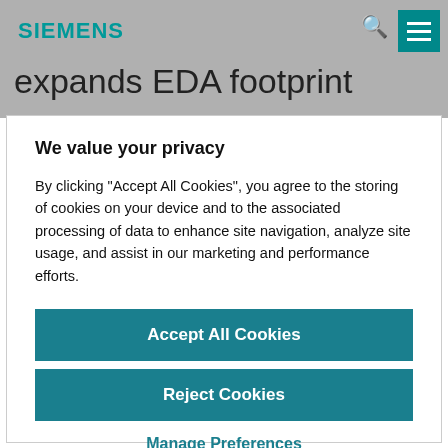SIEMENS
expands EDA footprint
We value your privacy
By clicking “Accept All Cookies”, you agree to the storing of cookies on your device and to the associated processing of data to enhance site navigation, analyze site usage, and assist in our marketing and performance efforts.
Accept All Cookies
Reject Cookies
Manage Preferences